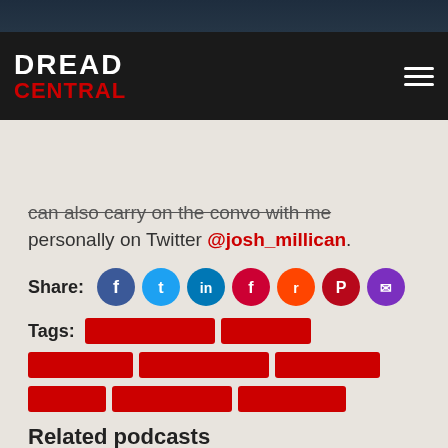[Figure (screenshot): Dark atmospheric header image, partial view at top of page]
Dread Central — navigation bar with logo and hamburger menu
Are you excited to check out the
can also carry on the convo with me personally on Twitter @josh_millican.
Share: [social icons: Facebook, Twitter, LinkedIn, Flipboard, Reddit, Pinterest, Email]
Tags: [multiple red tag pills]
Related podcasts
[Figure (screenshot): Podcast card with 'Listen to Full...' text overlay]